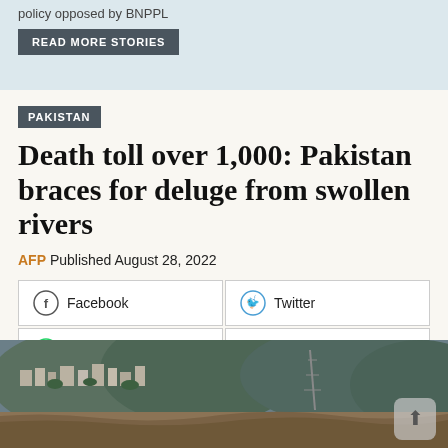policy opposed by BNPPL
READ MORE STORIES
PAKISTAN
Death toll over 1,000: Pakistan braces for deluge from swollen rivers
AFP Published August 28, 2022
Facebook
Twitter
Whatsapp
Comments
[Figure (photo): Aerial or riverside view of a Pakistani town with buildings on hillside and a swollen river in the foreground, with a telecommunications tower visible]